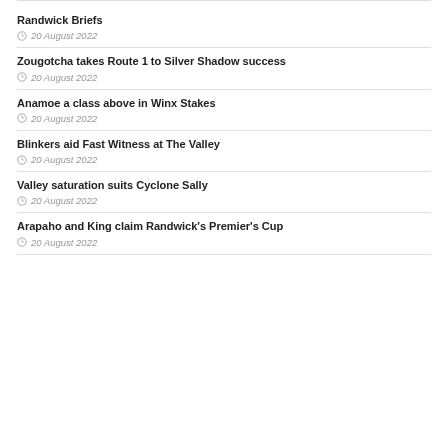Randwick Briefs
20 August 2022
Zougotcha takes Route 1 to Silver Shadow success
20 August 2022
Anamoe a class above in Winx Stakes
20 August 2022
Blinkers aid Fast Witness at The Valley
20 August 2022
Valley saturation suits Cyclone Sally
20 August 2022
Arapaho and King claim Randwick's Premier's Cup
20 August 2022